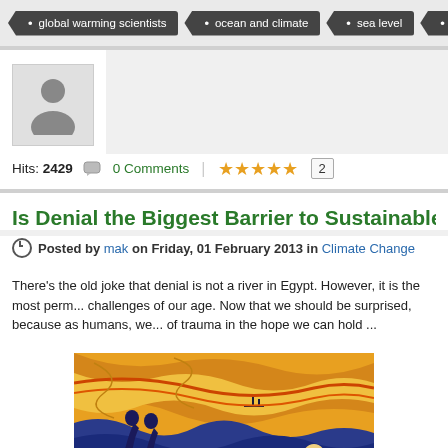global warming scientists | ocean and climate | sea level | sea levels
[Figure (photo): User avatar placeholder silhouette icon in a gray bordered box]
Hits: 2429  0 Comments  ★★★★★ 2
Is Denial the Biggest Barrier to Sustainable Ch...
Posted by mak on Friday, 01 February 2013 in Climate Change
There's the old joke that denial is not a river in Egypt. However, it is the most perm... challenges of our age. Now that we should be surprised, because as humans, we... of trauma in the hope we can hold ...
[Figure (illustration): Edvard Munch's The Scream painting - a figure with hands on face screaming against a swirling blue and orange sky landscape]